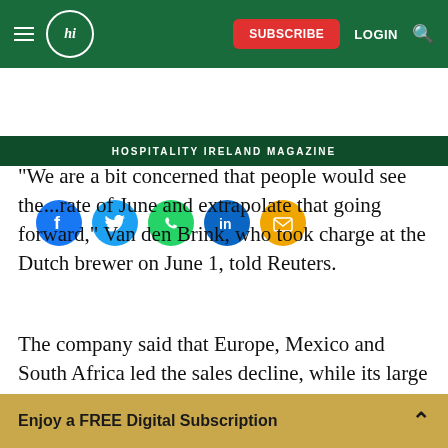hi SUBSCRIBE LOGIN [search]
HOSPITALITY IRELAND MAGAZINE
[Figure (infographic): Social sharing icons: Facebook (blue), Twitter (blue), WhatsApp (green), LinkedIn (blue), Email (orange)]
"We are a bit concerned that people would see the...rate of June and extrapolate that going forward," Van den Brink, who took charge at the Dutch brewer on June 1, told Reuters.
The company said that Europe, Mexico and South Africa led the sales decline, while its large Vietnam market fared better.
Enjoy a FREE Digital Subscription